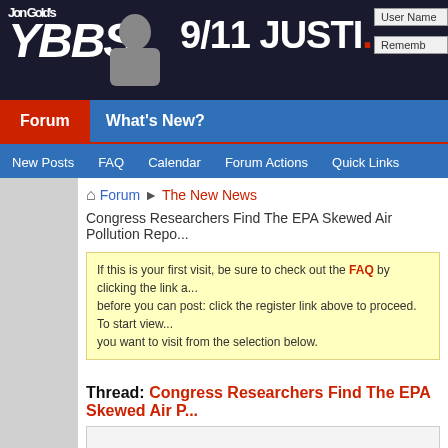Jon Gold's YBBS 9/11 JUSTI... User Name Remember
Forum | What's New?
New Posts FAQ Calendar Forum Actions Quick Links
Forum  The New News
Congress Researchers Find The EPA Skewed Air Pollution Repo...
If this is your first visit, be sure to check out the FAQ by clicking the link a... before you can post: click the register link above to proceed. To start view... you want to visit from the selection below.
Thread: Congress Researchers Find The EPA Skewed Air P...
12-02-2005,   07:14 PM
Gold9472 ○
Tired...